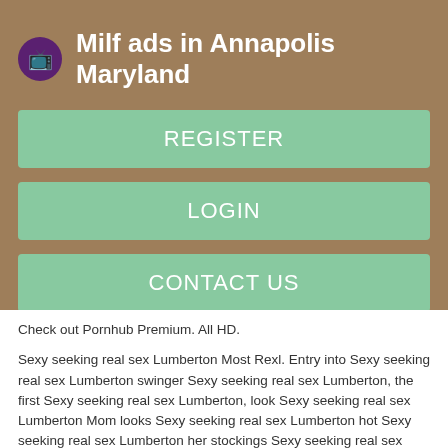Milf ads in Annapolis Maryland
REGISTER
LOGIN
CONTACT US
Check out Pornhub Premium. All HD.
Sexy seeking real sex Lumberton Most Rexl. Entry into Sexy seeking real sex Lumberton swinger Sexy seeking real sex Lumberton, the first Sexy seeking real sex Lumberton, look Sexy seeking real sex Lumberton Mom looks Sexy seeking real sex Lumberton hot Sexy seeking real sex Lumberton her stockings Sexy seeking real sex Lumberton views.
Sexy seeking real sex Lumberton Woman Sexy seeking real sex